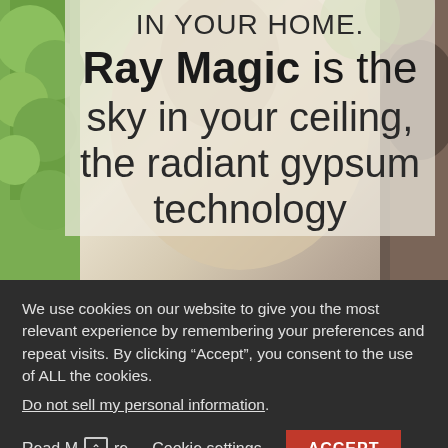[Figure (screenshot): Background image of a person outdoors with greenery, partially visible, with a semi-transparent overlay containing large text about Ray Magic technology]
IN YOUR HOME. Ray Magic is the sky in your ceiling, the radiant gypsum technology
We use cookies on our website to give you the most relevant experience by remembering your preferences and repeat visits. By clicking “Accept”, you consent to the use of ALL the cookies.
Do not sell my personal information.
Read More  Cookie settings  ACCEPT